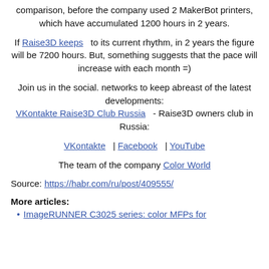comparison, before the company used 2 MakerBot printers, which have accumulated 1200 hours in 2 years.
If Raise3D keeps   to its current rhythm, in 2 years the figure will be 7200 hours. But, something suggests that the pace will increase with each month =)
Join us in the social. networks to keep abreast of the latest developments:
VKontakte Raise3D Club Russia   - Raise3D owners club in Russia:
VKontakte  |  Facebook  |  YouTube
The team of the company Color World
Source: https://habr.com/ru/post/409555/
More articles:
ImageRUNNER C3025 series: color MFPs for